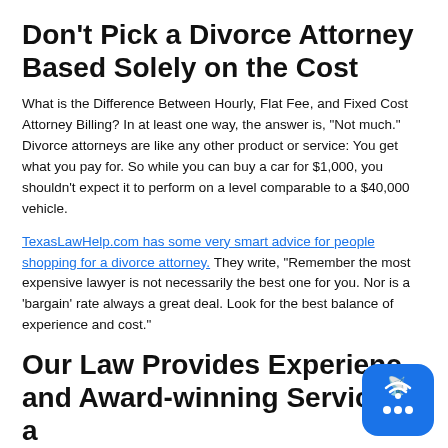Don't Pick a Divorce Attorney Based Solely on the Cost
What is the Difference Between Hourly, Flat Fee, and Fixed Cost Attorney Billing? In at least one way, the answer is, “Not much.” Divorce attorneys are like any other product or service: You get what you pay for. So while you can buy a car for $1,000, you shouldn’t expect it to perform on a level comparable to a $40,000 vehicle.
TexasLawHelp.com has some very smart advice for people shopping for a divorce attorney. They write, “Remember the most expensive lawyer is not necessarily the best one for you. Nor is a ‘bargain’ rate always a great deal. Look for the best balance of experience and cost.”
Our Law Provides Experience and Award-winning Service at a
[Figure (other): Blue rounded square chat/broadcast widget icon with signal waves and ellipsis dots]